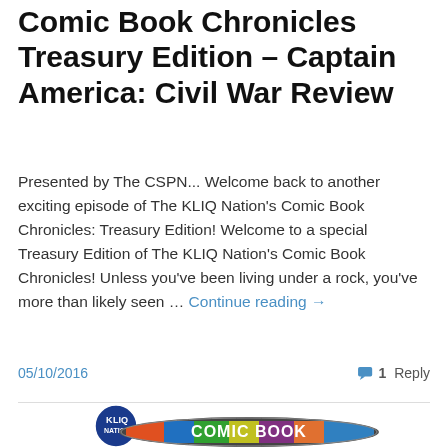Comic Book Chronicles Treasury Edition – Captain America: Civil War Review
Presented by The CSPN... Welcome back to another exciting episode of The KLIQ Nation's Comic Book Chronicles: Treasury Edition! Welcome to a special Treasury Edition of The KLIQ Nation's Comic Book Chronicles! Unless you've been living under a rock, you've more than likely seen … Continue reading →
05/10/2016
1 Reply
[Figure (logo): KLIQ Nation Comic Book logo — circular emblem with 'KLIQ NATION' text above an oval banner reading 'COMIC BOOK' with comic-panel collage background]